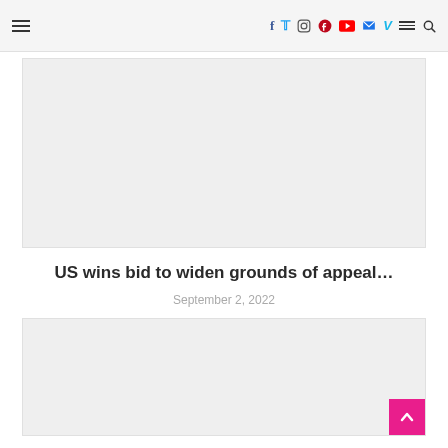☰  f  t  instagram  pinterest  youtube  mail  vimeo  ☰  search
[Figure (photo): Large gray placeholder image rectangle at top of page]
US wins bid to widen grounds of appeal…
September 2, 2022
[Figure (photo): Large gray placeholder image rectangle at bottom of page, with pink back-to-top button in bottom right corner]